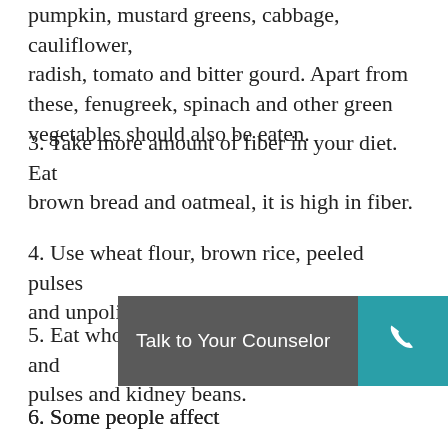pumpkin, mustard greens, cabbage, cauliflower, radish, tomato and bitter gourd. Apart from these, fenugreek, spinach and other green vegetables should also be eaten.
3. Take more amount of fiber in your diet. Eat brown bread and oatmeal, it is high in fiber.
4. Use wheat flour, brown rice, peeled pulses and unpolished rice.
5. Eat whole gram, soybean, sprouted gram and pulses and kidney beans.
6. Some people affect... question whether the... chicken and fish can be eaten in diabetes, but eat it less and do not consume mutton.
Talk to Your Counselor